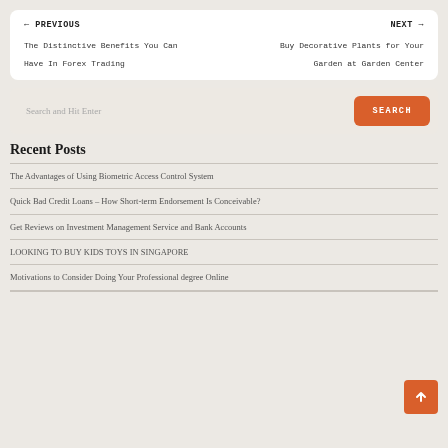← PREVIOUS
The Distinctive Benefits You Can Have In Forex Trading
NEXT →
Buy Decorative Plants for Your Garden at Garden Center
Search and Hit Enter
SEARCH
Recent Posts
The Advantages of Using Biometric Access Control System
Quick Bad Credit Loans – How Short-term Endorsement Is Conceivable?
Get Reviews on Investment Management Service and Bank Accounts
LOOKING TO BUY KIDS TOYS IN SINGAPORE
Motivations to Consider Doing Your Professional degree Online